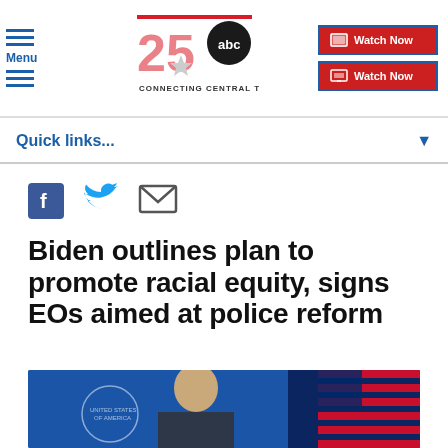KXXV 25 ABC — Connecting Central Texas — Watch Now
Quick links...
[Figure (other): Social share icons: Facebook, Twitter, Email]
Biden outlines plan to promote racial equity, signs EOs aimed at police reform
[Figure (photo): Photo of President Biden speaking at a podium, with American flag in background]